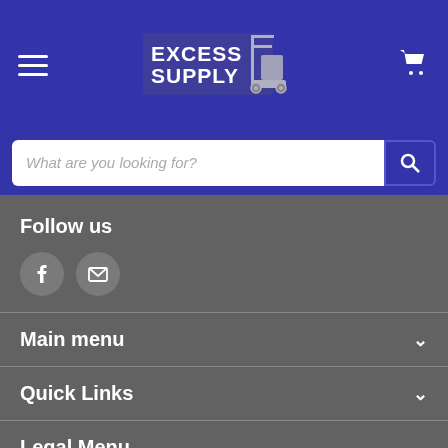Excess Supply — navigation header with hamburger menu and cart icon
What are you looking for?
Follow us
[Figure (illustration): Facebook icon circle button and email/envelope icon circle button]
Main menu
Quick Links
Legal Menu
Subscribe